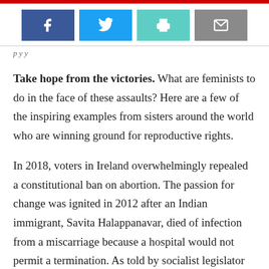[Figure (infographic): Social sharing buttons: Facebook (blue), Twitter (light blue), Print (teal), Email (grey)]
p y y
Take hope from the victories. What are feminists to do in the face of these assaults? Here are a few of the inspiring examples from sisters around the world who are winning ground for reproductive rights.
In 2018, voters in Ireland overwhelmingly repealed a constitutional ban on abortion. The passion for change was ignited in 2012 after an Indian immigrant, Savita Halappanavar, died of infection from a miscarriage because a hospital would not permit a termination. As told by socialist legislator Ruth Coppinger, “Mainly youthful, female and non-binary people built the ba…